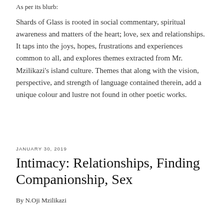As per its blurb:
Shards of Glass is rooted in social commentary, spiritual awareness and matters of the heart; love, sex and relationships. It taps into the joys, hopes, frustrations and experiences common to all, and explores themes extracted from Mr. Mzilikazi's island culture. Themes that along with the vision, perspective, and strength of language contained therein, add a unique colour and lustre not found in other poetic works.
JANUARY 30, 2019
Intimacy: Relationships, Finding Companionship, Sex
By N.Oji Mzilikazi